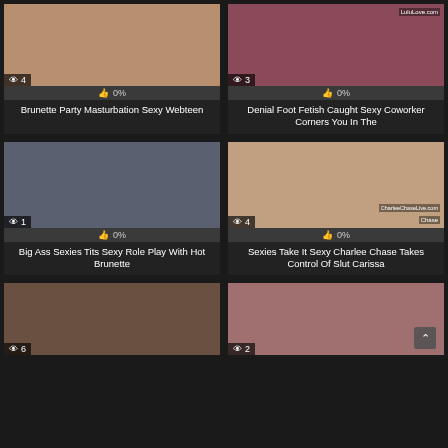[Figure (screenshot): Video thumbnail grid - top left card: views=4, likes=0%]
Brunette Party Masturbation Sexy Webteen
[Figure (screenshot): Video thumbnail grid - top right card: views=3, likes=0%, LuluLove.com watermark]
Denial Foot Fetish Caught Sexy Coworker Corners You In The
[Figure (screenshot): Video thumbnail grid - middle left card: views=1, likes=0%]
Big Ass Sexies Tits Sexy Role Play With Hot Brunette
[Figure (screenshot): Video thumbnail grid - middle right card: views=4, likes=0%, CharleeChaseLive.com and CHASE watermarks]
Sexies Take It Sexy Charlee Chase Takes Control Of Slut Carissa
[Figure (screenshot): Video thumbnail grid - bottom left card: views=6, partial thumbnail]
[Figure (screenshot): Video thumbnail grid - bottom right card: views=2, scroll-up button, partial thumbnail]